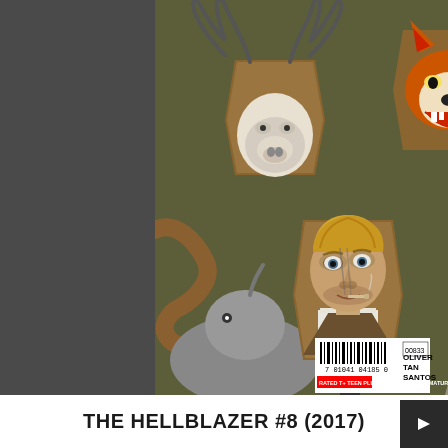[Figure (illustration): Comic book cover of The Hellblazer #8 (2017). Dark olive-green background with mounted animal trophy heads (antelope/goat with horns on left, snarling fox on upper right) and partial animal figures (large cat with curved tail on lower left, shark/fish shapes on right, rhinoceros lower right). Center features a man's head mounted like a trophy — blond, with a cigarette, wearing a suit and dark tie with a bruised eye. Bottom left shows barcode and credits: OLIVER, TAN, SANTOS.]
THE HELLBLAZER #8 (2017)